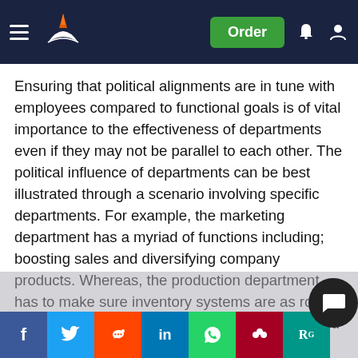Navigation header with logo and Order button
Ensuring that political alignments are in tune with employees compared to functional goals is of vital importance to the effectiveness of departments even if they may not be parallel to each other. The political influence of departments can be best illustrated through a scenario involving specific departments. For example, the marketing department has a myriad of functions including; boosting sales and diversifying company products. Whereas, the production department has to make sure inventory systems are as robust as possible and keeping stocks of products intact. The result of this particular scenario is the possible political alignment of the employees in both departments due to the product ce nature of both departments. Although it must be noted both departments will have differences caused by the division of through distinctions in the training, backgrounds, and review